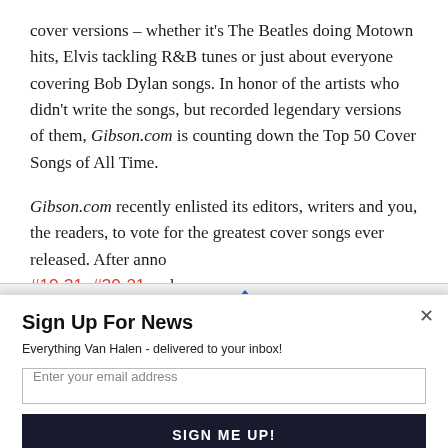cover versions – whether it's The Beatles doing Motown hits, Elvis tackling R&B tunes or just about everyone covering Bob Dylan songs. In honor of the artists who didn't write the songs, but recorded legendary versions of them, Gibson.com is counting down the Top 50 Cover Songs of All Time.
Gibson.com recently enlisted its editors, writers and you, the readers, to vote for the greatest cover songs ever released. After anno #40-31, #30-21 and
[Figure (other): POWERED BY SUMO banner with crown logo]
Sign Up For News
Everything Van Halen - delivered to your inbox!
[Email input field]
[SIGN ME UP! button]